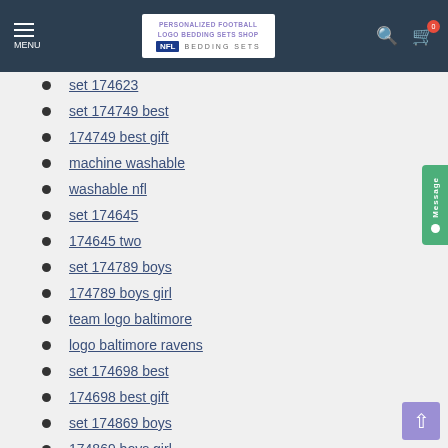NFL Bedding Sets - Personalized Football Logo Bedding Sets Shop
set 174623
set 174749 best
174749 best gift
machine washable
washable nfl
set 174645
174645 two
set 174789 boys
174789 boys girl
team logo baltimore
logo baltimore ravens
set 174698 best
174698 best gift
set 174869 boys
174869 boys girl
set 174720
set 174821 hotel